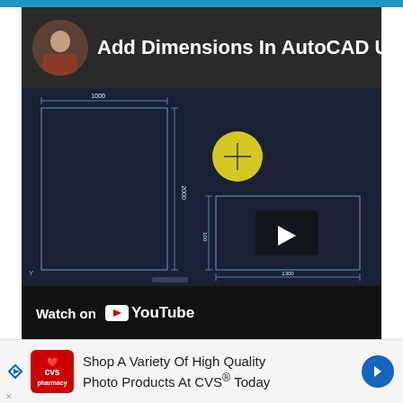[Figure (screenshot): YouTube video thumbnail showing an AutoCAD workspace with title 'Add Dimensions In AutoCAD Using Excel & VBA'. The AutoCAD canvas shows a tall rectangle with dimension '1000' on top and '2000' on the side, a yellow circle with crosshair, and a smaller rectangle with dimensions '100' and '1300'. A video play button overlay is visible on the smaller rectangle. Bottom bar shows 'Watch on YouTube'.]
Shop A Variety Of High Quality Photo Products At CVS® Today